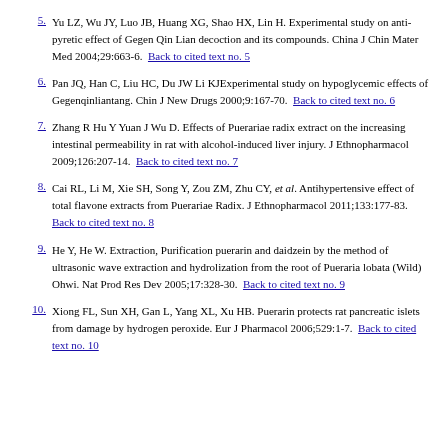5. Yu LZ, Wu JY, Luo JB, Huang XG, Shao HX, Lin H. Experimental study on anti-pyretic effect of Gegen Qin Lian decoction and its compounds. China J Chin Mater Med 2004;29:663-6. Back to cited text no. 5
6. Pan JQ, Han C, Liu HC, Du JW Li KJExperimental study on hypoglycemic effects of Gegenqinliantang. Chin J New Drugs 2000;9:167-70. Back to cited text no. 6
7. Zhang R Hu Y Yuan J Wu D. Effects of Puerariae radix extract on the increasing intestinal permeability in rat with alcohol-induced liver injury. J Ethnopharmacol 2009;126:207-14. Back to cited text no. 7
8. Cai RL, Li M, Xie SH, Song Y, Zou ZM, Zhu CY, et al. Antihypertensive effect of total flavone extracts from Puerariae Radix. J Ethnopharmacol 2011;133:177-83. Back to cited text no. 8
9. He Y, He W. Extraction, Purification puerarin and daidzein by the method of ultrasonic wave extraction and hydrolization from the root of Pueraria lobata (Wild) Ohwi. Nat Prod Res Dev 2005;17:328-30. Back to cited text no. 9
10. Xiong FL, Sun XH, Gan L, Yang XL, Xu HB. Puerarin protects rat pancreatic islets from damage by hydrogen peroxide. Eur J Pharmacol 2006;529:1-7. Back to cited text no. 10